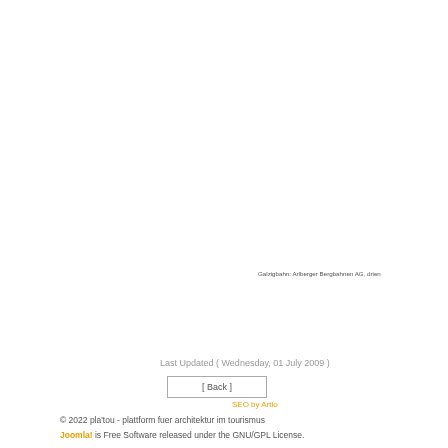Galzigbahn: Arlberger Bergbahnen AG, drien
Last Updated ( Wednesday, 01 July 2009 )
[ Back ]
SEO by Artio
© 2022 pla'tou - plattform fuer architektur im tourismus
Joomla! is Free Software released under the GNU/GPL License.